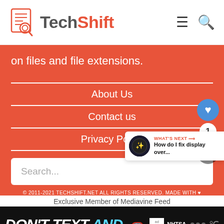[Figure (logo): TechShift logo with document/search icon and orange-teal text]
on files and file extensions.
About Us
Contact us
Privacy Policy
Search...
© 2011-2021 TECHSHIFT.NET ALL RIGHTS RESERVED. MADE WITH ♥
[Figure (screenshot): DON'T TEXT AND [car emoji] advertisement banner with NHTSA logo]
Exclusive Member of Mediavine Feed